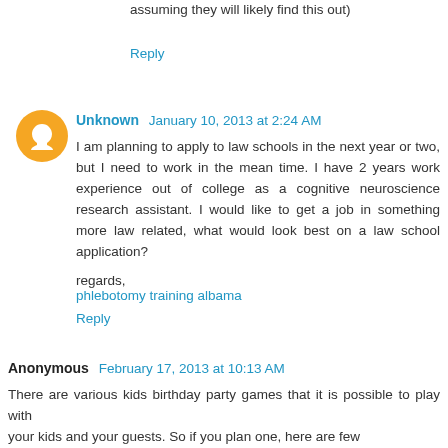assuming they will likely find this out)
Reply
Unknown January 10, 2013 at 2:24 AM
I am planning to apply to law schools in the next year or two, but I need to work in the mean time. I have 2 years work experience out of college as a cognitive neuroscience research assistant. I would like to get a job in something more law related, what would look best on a law school application?

regards,
phlebotomy training albama
Reply
Anonymous February 17, 2013 at 10:13 AM
There are various kids birthday party games that it is possible to play with your kids and your guests. So if you plan one, here are few